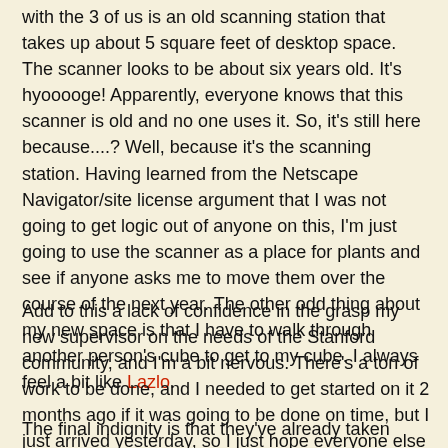with the 3 of us is an old scanning station that takes up about 5 square feet of desktop space. The scanner looks to be about six years old. It's hyooooge! Apparently, everyone knows that this scanner is old and no one uses it. So, it's still here because....? Well, because it's the scanning station. Having learned from the Netscape Navigator/site license argument that I was not going to get logic out of anyone on this, I'm just going to use the scanner as a place for plants and see if anyone asks me to move them over the course of the next year. The other odd thing about my new space is that I have to walk through another person's cube to get to my cube. I always feel a bit like Lazlo.
Add to this a lack of confidence in the grasp my new supervisor on the needs of the Stanford community, and I'm a bit nervous. There's a ton of work to be done, and I needed to get started on it 2 months ago if it was going to be done on time, but I just arrived yesterday, so I just hope everyone else has some grasp on reality about how much of it isn't going to get done.
The final indignity is that they've already taken away my